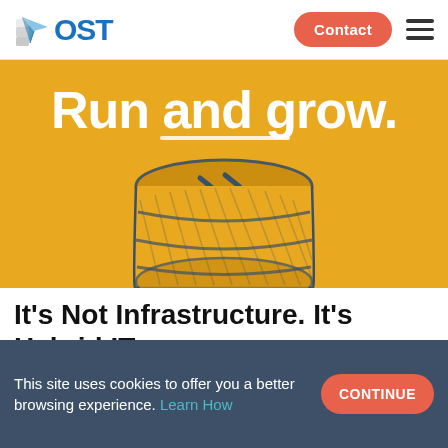OST
[Figure (illustration): Yellow/gold background hero image with hand-drawn style illustration of a coin bank (cylindrical piggy bank) in dark blue/gold outline. Large white text reads 'Run and grow.' with an underline beneath 'Run and grow.']
It's Not Infrastructure. It's Hybrid IT.
This site uses cookies to offer you a better browsing experience. Learn How